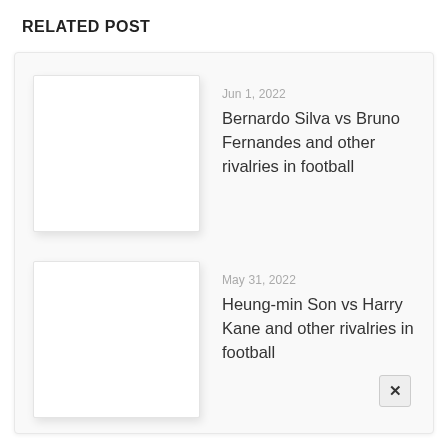RELATED POST
Jun 1, 2022 — Bernardo Silva vs Bruno Fernandes and other rivalries in football
May 31, 2022 — Heung-min Son vs Harry Kane and other rivalries in football